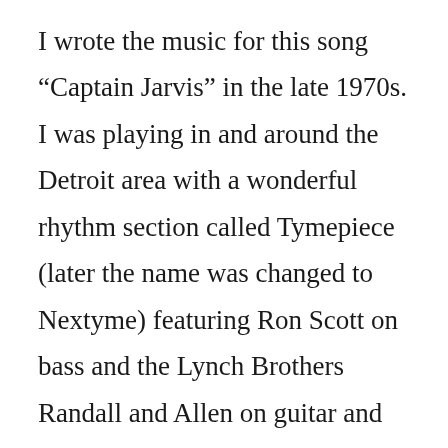I wrote the music for this song “Captain Jarvis” in the late 1970s. I was playing in and around the Detroit area with a wonderful rhythm section called Tymepiece  (later the name was changed to Nextyme) featuring Ron Scott on bass and the Lynch Brothers Randall and Allen on guitar and drums respectively and myself on keyboards and an occcasional excursion on guitar. These guys were/are some very funky players. So, inspired by my favorite Jazz